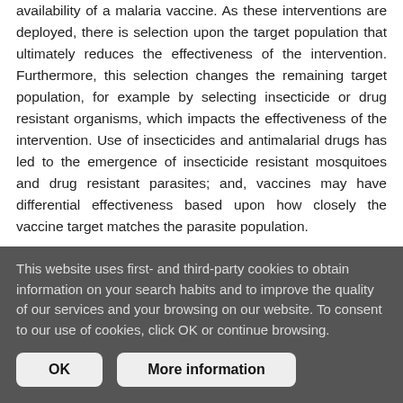availability of a malaria vaccine. As these interventions are deployed, there is selection upon the target population that ultimately reduces the effectiveness of the intervention. Furthermore, this selection changes the remaining target population, for example by selecting insecticide or drug resistant organisms, which impacts the effectiveness of the intervention. Use of insecticides and antimalarial drugs has led to the emergence of insecticide resistant mosquitoes and drug resistant parasites; and, vaccines may have differential effectiveness based upon how closely the vaccine target matches the parasite population.
This website uses first- and third-party cookies to obtain information on your search habits and to improve the quality of our services and your browsing on our website. To consent to our use of cookies, click OK or continue browsing.